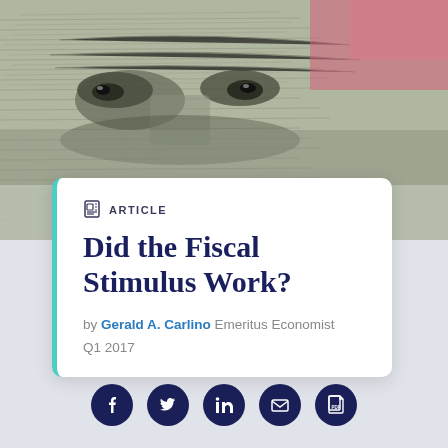[Figure (photo): Close-up macro photograph of a US dollar bill showing engraved portrait face detail with fine line patterns in green/grey tones, with a hint of pink/red in the upper right corner.]
ARTICLE
Did the Fiscal Stimulus Work?
by Gerald A. Carlino Emeritus Economist
Q1 2017
[Figure (infographic): Row of five circular social sharing icon buttons (Facebook, Twitter, LinkedIn, Email, PDF) in dark navy blue.]